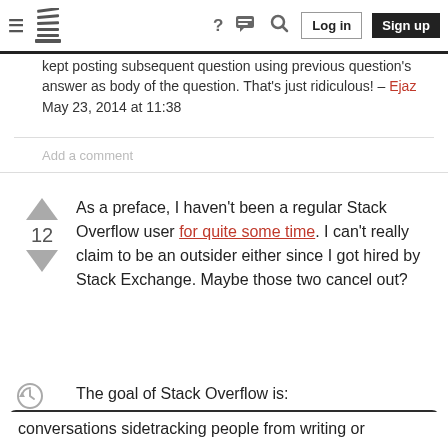Stack Overflow navigation bar with hamburger menu, logo, icons, Log in and Sign up buttons
kept posting subsequent question using previous question's answer as body of the question. That's just ridiculous! – Ejaz May 23, 2014 at 11:38
Add a comment
As a preface, I haven't been a regular Stack Overflow user for quite some time. I can't really claim to be an outsider either since I got hired by Stack Exchange. Maybe those two cancel out?
The goal of Stack Overflow is:
Your privacy

By clicking "Accept all cookies", you agree Stack Exchange can store cookies on your device and disclose information in accordance with our Cookie Policy.

Accept all cookies   Customize settings
conversations sidetracking people from writing or